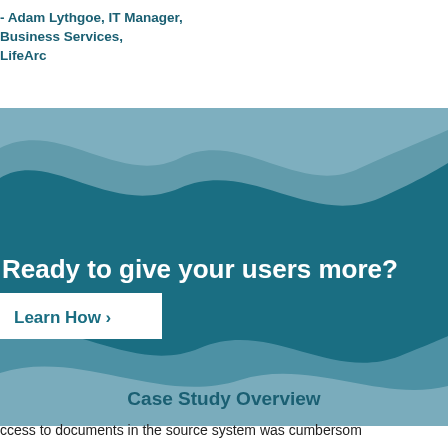- Adam Lythgoe, IT Manager, Business Services, LifeArc
[Figure (illustration): Decorative wave graphic with layered teal and light blue wave shapes on white background, containing a CTA section with text 'Ready to give your users more?' and a 'Learn How >' button on a white rectangle.]
Case Study Overview
ccess to documents in the source system was cumbersom